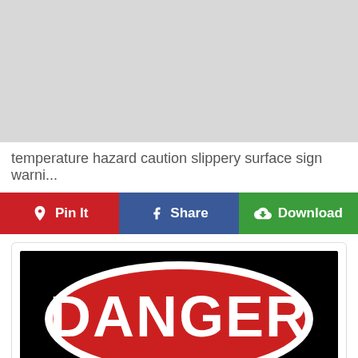[Figure (other): Gray advertisement placeholder area]
temperature hazard caution slippery surface sign warni...
Pin It  Share  Download
[Figure (photo): Danger sign with white text on red oval on black background]